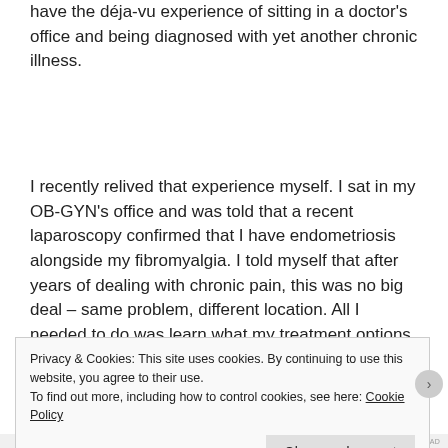have the déja-vu experience of sitting in a doctor's office and being diagnosed with yet another chronic illness.
I recently relived that experience myself. I sat in my OB-GYN's office and was told that a recent laparoscopy confirmed that I have endometriosis alongside my fibromyalgia. I told myself that after years of dealing with chronic pain, this was no big deal – same problem, different location. All I needed to do was learn what my treatment options were and then go home and use the
Privacy & Cookies: This site uses cookies. By continuing to use this website, you agree to their use.
To find out more, including how to control cookies, see here: Cookie Policy